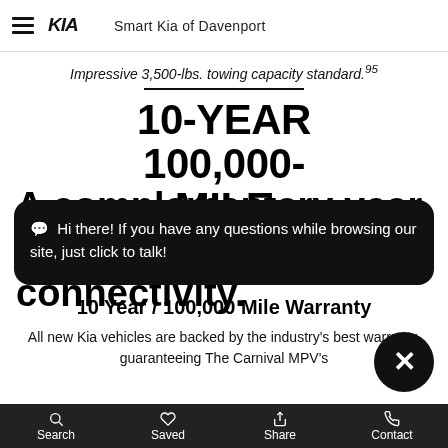Smart Kia of Davenport
Impressive 3,500-lbs. towing capacity standard.95
10-YEAR 100,000-MILE WARRANTY
10 Year / 100,000 Mile Warranty
All new Kia vehicles are backed by the industry's best warranty, guaranteeing The Carnival MPV's
Hi there! If you have any questions while browsing our site, just click to talk!
A complementary year of UVO connectivity.
Search   Saved   Share   Contact